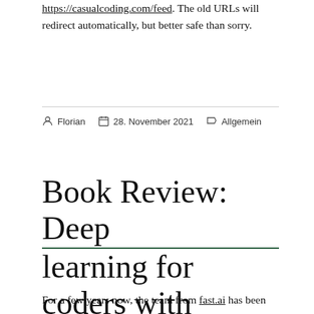https://casualcoding.com/feed. The old URLs will redirect automatically, but better safe than sorry.
Florian   28. November 2021   Allgemein
Book Review: Deep learning for coders with fastai and PyTorch
For a few years now, the team from fast.ai has been providing free education about deep learning on their